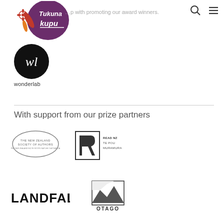[Figure (logo): Tukuna kupu logo - purple circular shape with decorative leaves and flower, text 'Tukuna kupu']
…p with promoting our award winners.
[Figure (logo): Wonderlab logo - black circle with stylized 'wl' monogram in white, label 'wonderlab' below]
wonderlab
With support from our prize partners
[Figure (logo): The New Zealand Society of Authors logo - oval/ellipse outline with text 'THE NEW ZEALAND SOCIETY OF AUTHORS']
[Figure (logo): Read NZ / Te Pou Muramura logo - stylized R with block letter design and text 'READ NZ TE POU MURAMURA']
[Figure (logo): LANDFALL logo in bold black text]
[Figure (logo): Otago University Press logo - mountain/landscape graphic with 'OTAGO' text below]